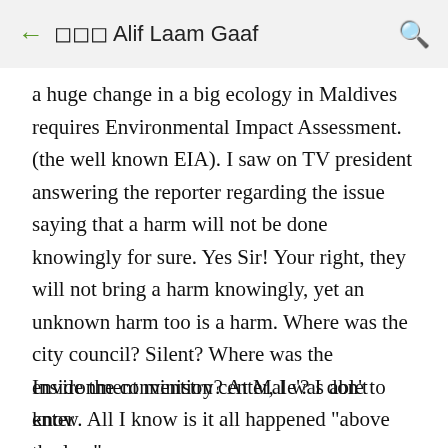← 🔲🔲🔲 Alif Laam Gaaf 🔍
a huge change in a big ecology in Maldives requires Environmental Impact Assessment. (the well known EIA). I saw on TV president answering the reporter regarding the issue saying that a harm will not be done knowingly for sure. Yes Sir! Your right, they will not bring a harm knowingly, yet an unknown harm too is a harm. Where was the city council? Silent? Where was the environment ministry? At Male'? I don't know. All I know is it all happened "above the law"
Inside the convention center, I was able to enter